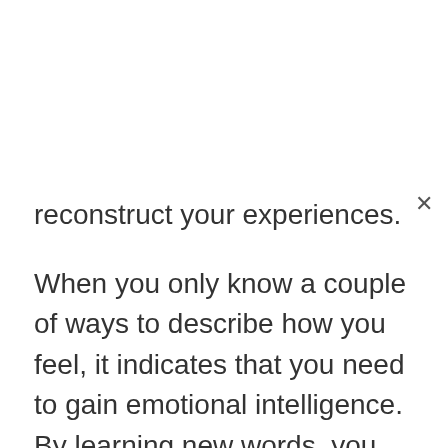reconstruct your experiences.
When you only know a couple of ways to describe how you feel, it indicates that you need to gain emotional intelligence. By learning new words, you can give your brain more options for predicting and perceiving emotions.
Your goal when practicing emotional granularity should be to gain new concepts